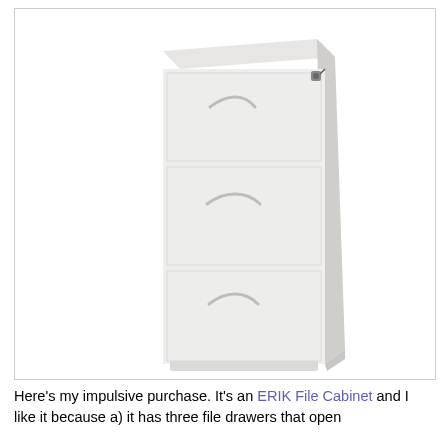[Figure (photo): A white IKEA ERIK three-drawer file cabinet with a lock on the top-right corner, photographed against a white background.]
Here's my impulsive purchase. It's an ERIK File Cabinet and I like it because a) it has three file drawers that open